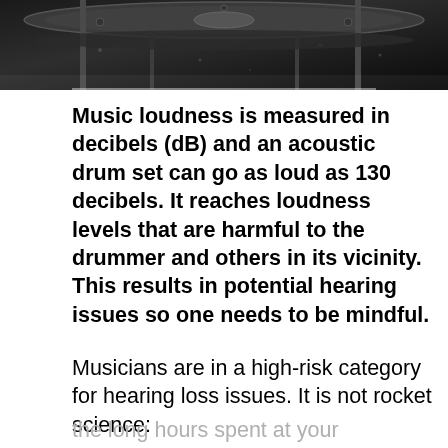[Figure (photo): Close-up photo of drum cymbals and hardware, dark tones, partially visible at top of page]
Music loudness is measured in decibels (dB) and an acoustic drum set can go as loud as 130 decibels. It reaches loudness levels that are harmful to the drummer and others in its vicinity. This results in potential hearing issues so one needs to be mindful.
Musicians are in a high-risk category for hearing loss issues. It is not rocket science: the long hours spent at your instrument, with a sound emission that is often beyond